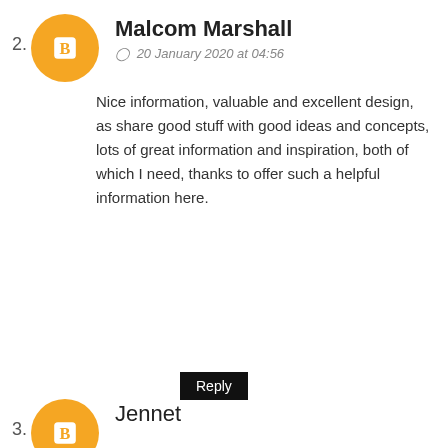2.
[Figure (illustration): Orange circular blogger avatar icon with white blogger 'B' logo]
Malcom Marshall
20 January 2020 at 04:56
Nice information, valuable and excellent design, as share good stuff with good ideas and concepts, lots of great information and inspiration, both of which I need, thanks to offer such a helpful information here.
Reply
3.
[Figure (illustration): Orange circular blogger avatar icon with white blogger 'B' logo]
Jennet